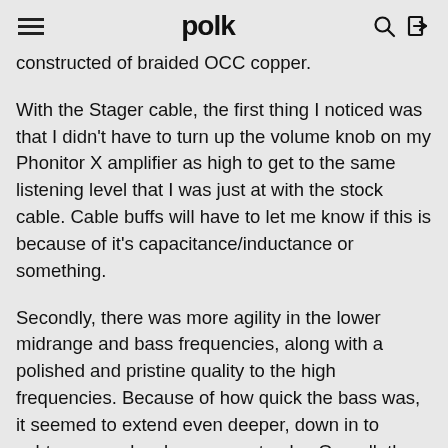polk
constructed of braided OCC copper.
With the Stager cable, the first thing I noticed was that I didn't have to turn up the volume knob on my Phonitor X amplifier as high to get to the same listening level that I was just at with the stock cable. Cable buffs will have to let me know if this is because of it's capacitance/inductance or something.
Secondly, there was more agility in the lower midrange and bass frequencies, along with a polished and pristine quality to the high frequencies. Because of how quick the bass was, it seemed to extend even deeper, down in to subterranean levels on some tracks. Overall, the sound came across as very quick and rhythmic, with no frequencies being abnormally accented.